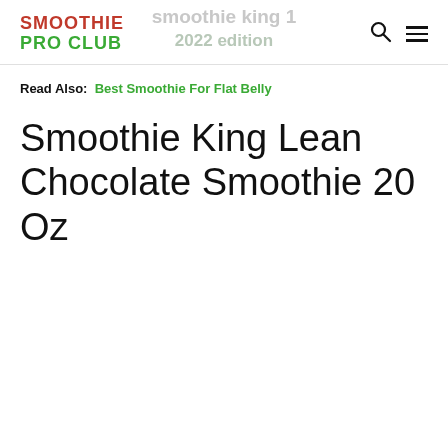SMOOTHIE PRO CLUB
Read Also: Best Smoothie For Flat Belly
Smoothie King Lean Chocolate Smoothie 20 Oz